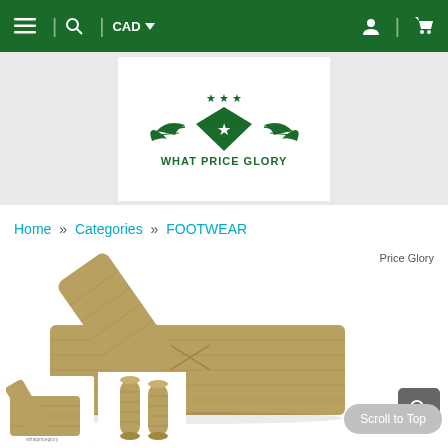≡ | 🔍 | CAD ▼   [user icon] | [cart icon]
[Figure (logo): What Price Glory logo — green military shield with wings and star, three stars above, text WHAT PRICE GLORY below]
Home » Categories » FOOTWEAR
[Figure (photo): Product photo of khaki/olive colored military footwraps laid flat, with one wrap end angled upward, showing stitching detail]
© What Price Glory
[Figure (photo): Three thumbnail images: left shows partial footwrap product, center two show rolled footwrap items]
Scroll to Top